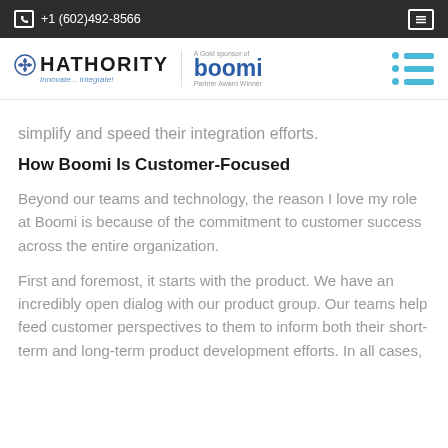+1 (602)492-8566
[Figure (logo): Hathority logo with tagline 'Innovate. Integrate!' and Boomi Gold sponsor partner award winner badge, plus hamburger menu icon]
simplify and speed their integration efforts.
How Boomi Is Customer-Focused
Beyond our teams and technology, the reason I love my role at Boomi is because of the commitment to customer success across the entire organization.
First and foremost, it starts with the product. We have an incredibly open dialog with our product group. Our teams help feed customer perspectives to them to inform both their short-term and long-term product development efforts. In all cases,